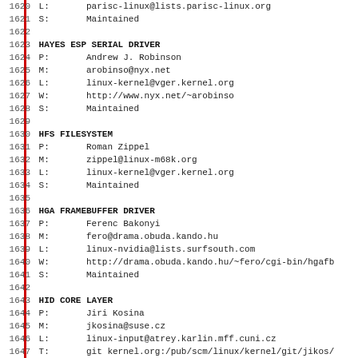1620 L:       parisc-linux@lists.parisc-linux.org
1621 S:       Maintained
1622
1623 HAYES ESP SERIAL DRIVER
1624 P:       Andrew J. Robinson
1625 M:       arobinso@nyx.net
1626 L:       linux-kernel@vger.kernel.org
1627 W:       http://www.nyx.net/~arobinso
1628 S:       Maintained
1629
1630 HFS FILESYSTEM
1631 P:       Roman Zippel
1632 M:       zippel@linux-m68k.org
1633 L:       linux-kernel@vger.kernel.org
1634 S:       Maintained
1635
1636 HGA FRAMEBUFFER DRIVER
1637 P:       Ferenc Bakonyi
1638 M:       fero@drama.obuda.kando.hu
1639 L:       linux-nvidia@lists.surfsouth.com
1640 W:       http://drama.obuda.kando.hu/~fero/cgi-bin/hgafb
1641 S:       Maintained
1642
1643 HID CORE LAYER
1644 P:       Jiri Kosina
1645 M:       jkosina@suse.cz
1646 L:       linux-input@atrey.karlin.mff.cuni.cz
1647 T:       git kernel.org:/pub/scm/linux/kernel/git/jikos/
1648 S:       Maintained
1649
1650 HIGH-RESOLUTION TIMERS, CLOCKEVENTS, DYNTICKS
1651 P:       Thomas Gleixner